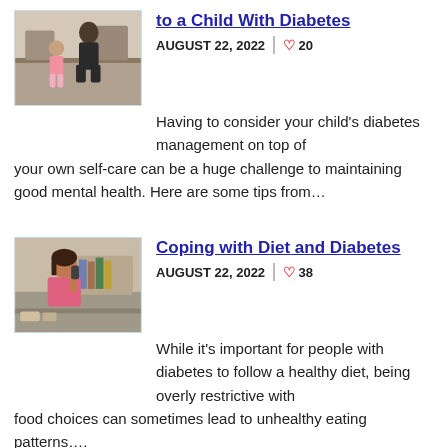[Figure (photo): Adult kneeling and interacting with a young child indoors]
… to a Child With Diabetes
AUGUST 22, 2022  ♡ 20
Having to consider your child's diabetes management on top of your own self-care can be a huge challenge to maintaining good mental health. Here are some tips from…
[Figure (photo): Young woman using a glucose meter, sitting at a table with food]
Coping with Diet and Diabetes
AUGUST 22, 2022  ♡ 38
While it's important for people with diabetes to follow a healthy diet, being overly restrictive with food choices can sometimes lead to unhealthy eating patterns….